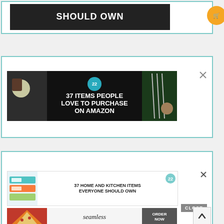[Figure (screenshot): Top card with partial image showing text 'SHOULD OWN' in white bold uppercase letters on dark background, with orange cart button]
[Figure (screenshot): Middle advertisement card: '37 ITEMS PEOPLE LOVE TO PURCHASE ON AMAZON' with teal badge showing 22, dark background with kitchen knives and food items, close X button]
[Figure (screenshot): Bottom advertisement card: '37 HOME AND KITCHEN ITEMS EVERYONE SHOULD OWN' with colorful storage bags image, close X button, CLOSE gray button, and Seamless ORDER NOW ad below with pizza image, scroll-to-top arrow]